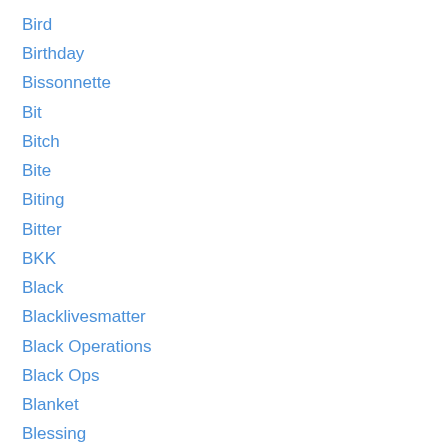Bird
Birthday
Bissonnette
Bit
Bitch
Bite
Biting
Bitter
BKK
Black
Blacklivesmatter
Black Operations
Black Ops
Blanket
Blessing
Blinding
Bliss
Blitz
Block
Blocking